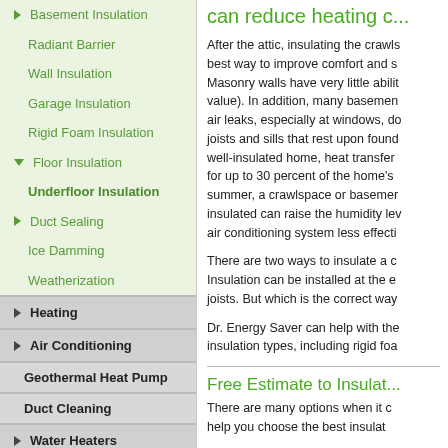Basement Insulation
Radiant Barrier
Wall Insulation
Garage Insulation
Rigid Foam Insulation
Floor Insulation
Underfloor Insulation
Duct Sealing
Ice Damming
Weatherization
Heating
Air Conditioning
Geothermal Heat Pump
Duct Cleaning
Water Heaters
can reduce heating c...
After the attic, insulating the crawls... best way to improve comfort and s... Masonry walls have very little abilit... value). In addition, many basemen... air leaks, especially at windows, do... joists and sills that rest upon found... well-insulated home, heat transfer ... for up to 30 percent of the home's ... summer, a crawlspace or basemer... insulated can raise the humidity lev... air conditioning system less effecti...
There are two ways to insulate a c... Insulation can be installed at the e... joists. But which is the correct way...
Dr. Energy Saver can help with the... insulation types, including rigid foa...
Free Estimate to Insulat...
There are many options when it c... help you choose the best insulat...